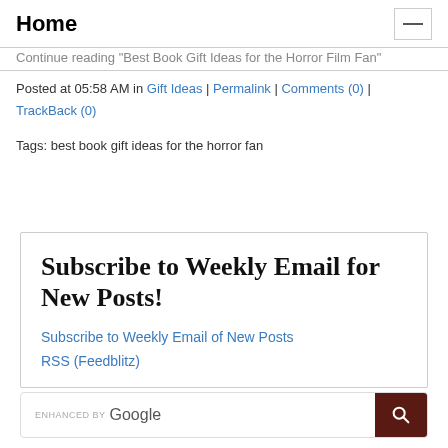Home
Continue reading "Best Book Gift Ideas for the Horror Film Fan"
Posted at 05:58 AM in Gift Ideas | Permalink | Comments (0) | TrackBack (0)
Tags: best book gift ideas for the horror fan
Subscribe to Weekly Email for New Posts!
Subscribe to Weekly Email of New Posts
RSS (Feedblitz)
ENHANCED BY Google